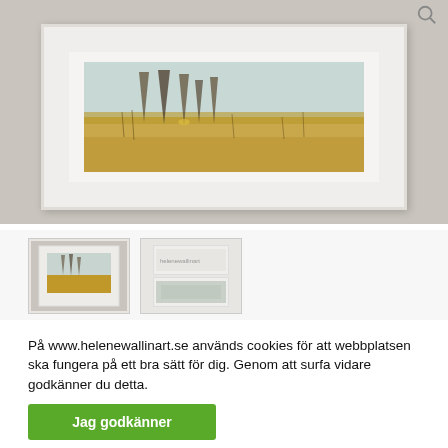[Figure (photo): A framed landscape artwork displayed on a wooden background. The frame is white with a wide white mat. The painting shows trees and grassland in muted natural tones.]
[Figure (photo): Thumbnail of the framed artwork showing landscape painting on grey wood background.]
[Figure (photo): Thumbnail showing two stacked views of the artwork detail with white frame and mat.]
På www.helenewallinart.se används cookies för att webbplatsen ska fungera på ett bra sätt för dig. Genom att surfa vidare godkänner du detta.
Jag godkänner